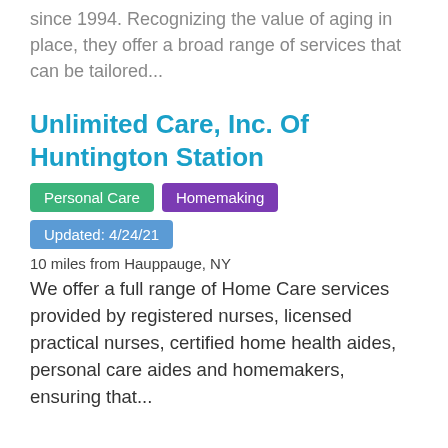since 1994. Recognizing the value of aging in place, they offer a broad range of services that can be tailored...
Unlimited Care, Inc. Of Huntington Station
Personal Care   Homemaking   Updated: 4/24/21
10 miles from Hauppauge, NY
We offer a full range of Home Care services provided by registered nurses, licensed practical nurses, certified home health aides, personal care aides and homemakers, ensuring that...